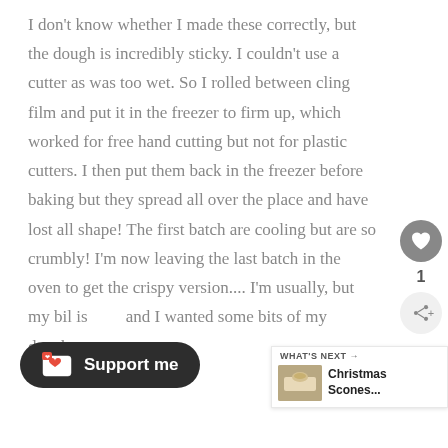I don't know whether I made these correctly, but the dough is incredibly sticky. I couldn't use a cutter as was too wet. So I rolled between cling film and put it in the freezer to firm up, which worked for free hand cutting but not for plastic cutters. I then put them back in the freezer before baking but they spread all over the place and have lost all shape! The first batch are cooling but are so crumbly! I'm now leaving the last batch in the oven to get the crispy version.... I'm usually, but my bil is and I wanted some bits of my daughters